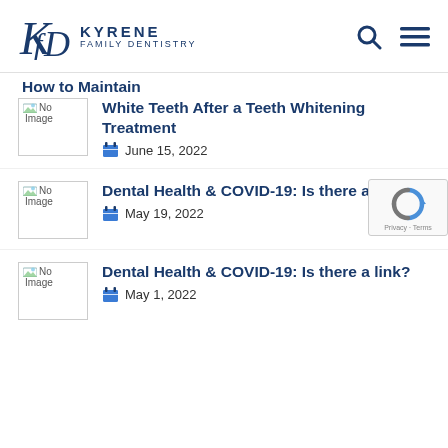Kyrene Family Dentistry
How to Maintain White Teeth After a Teeth Whitening Treatment
June 15, 2022
Dental Health & COVID-19: Is there a link?
May 19, 2022
Dental Health & COVID-19: Is there a link?
May 1, 2022